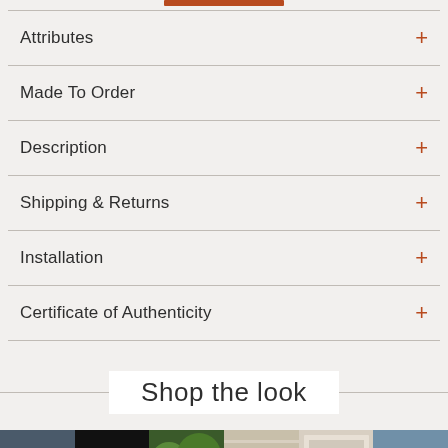Attributes
Made To Order
Description
Shipping & Returns
Installation
Certificate of Authenticity
Shop the look
[Figure (photo): Strip of 6 thumbnail photos showing various architectural/outdoor scenes]